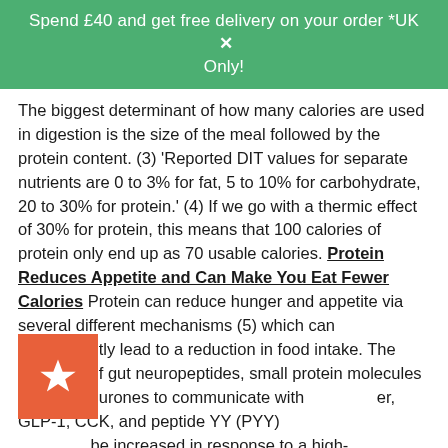Spend £40 and get free delivery on your order *UK Only! ✕
The biggest determinant of how many calories are used in digestion is the size of the meal followed by the protein content. (3) 'Reported DIT values for separate nutrients are 0 to 3% for fat, 5 to 10% for carbohydrate, 20 to 30% for protein.' (4) If we go with a thermic effect of 30% for protein, this means that 100 calories of protein only end up as 70 usable calories. Protein Reduces Appetite and Can Make You Eat Fewer Calories Protein can reduce hunger and appetite via several different mechanisms (5) which can subsequently lead to a reduction in food intake. The secretion of gut neuropeptides, small protein molecules used by neurones to communicate with [other], GLP-1, CCK, and peptide YY (PYY) [should] be increased in response to a high-[protein] diet to concentrations which lower hunger and increase satiety. (6,7) GLP-1 blunted